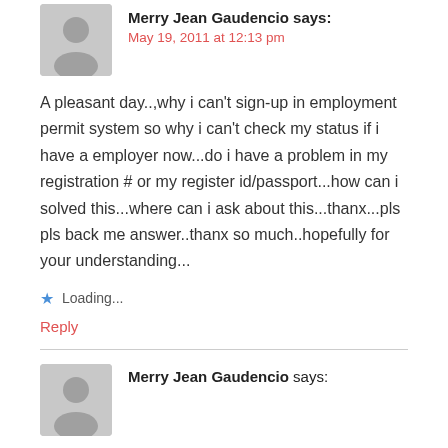Merry Jean Gaudencio says:
May 19, 2011 at 12:13 pm
A pleasant day..,why i can't sign-up in employment permit system so why i can't check my status if i have a employer now...do i have a problem in my registration # or my register id/passport...how can i solved this...where can i ask about this...thanx...pls pls back me answer..thanx so much..hopefully for your understanding...
Loading...
Reply
Merry Jean Gaudencio says: